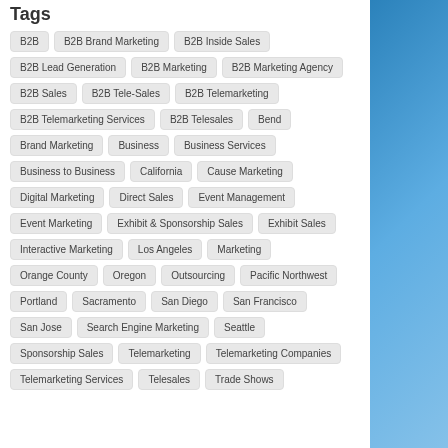Tags
B2B
B2B Brand Marketing
B2B Inside Sales
B2B Lead Generation
B2B Marketing
B2B Marketing Agency
B2B Sales
B2B Tele-Sales
B2B Telemarketing
B2B Telemarketing Services
B2B Telesales
Bend
Brand Marketing
Business
Business Services
Business to Business
California
Cause Marketing
Digital Marketing
Direct Sales
Event Management
Event Marketing
Exhibit & Sponsorship Sales
Exhibit Sales
Interactive Marketing
Los Angeles
Marketing
Orange County
Oregon
Outsourcing
Pacific Northwest
Portland
Sacramento
San Diego
San Francisco
San Jose
Search Engine Marketing
Seattle
Sponsorship Sales
Telemarketing
Telemarketing Companies
Telemarketing Services
Telesales
Trade Shows